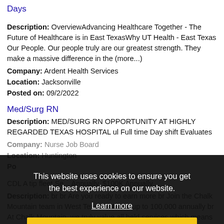Days
Description: OverviewAdvancing Healthcare Together - The Future of Healthcare is in East TexasWhy UT Health - East Texas Our People. Our people truly are our greatest strength. They make a massive difference in the (more...)
Company: Ardent Health Services
Location: Jacksonville
Posted on: 09/2/2022
Med/Surg RN
Description: MED/SURG RN OPPORTUNITY AT HIGHLY REGARDED TEXAS HOSPITAL ul Full time Day shift Evaluates
Company: Nurse Job Board
Location: Huntington
Description: br br A tip fleet Sec...Annually, $100K Annually
Description: br br Are you ready to earn more br Join the Chalk Mountain team in West Texas br Make up to 100,000 annually br At Chalk Mountain, we truly value all held services which means you'll have (more...)
Company: Chalk Mountain Services of TX
Location: Tyler
This website uses cookies to ensure you get the best experience on our website.
Learn more
Got it!